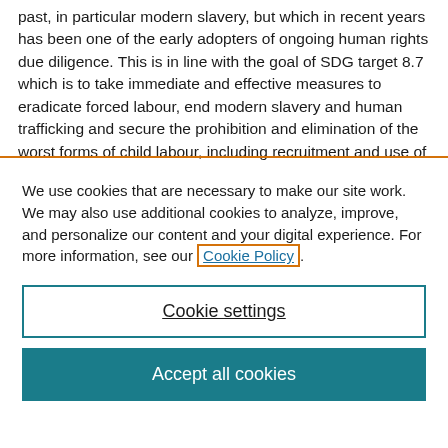past, in particular modern slavery, but which in recent years has been one of the early adopters of ongoing human rights due diligence. This is in line with the goal of SDG target 8.7 which is to take immediate and effective measures to eradicate forced labour, end modern slavery and human trafficking and secure the prohibition and elimination of the worst forms of child labour, including recruitment and use of child soldiers,
We use cookies that are necessary to make our site work. We may also use additional cookies to analyze, improve, and personalize our content and your digital experience. For more information, see our Cookie Policy.
Cookie settings
Accept all cookies